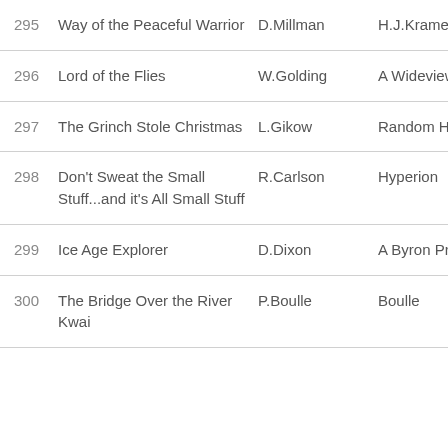| # | Title | Author | Publisher |
| --- | --- | --- | --- |
| 295 | Way of the Peaceful Warrior | D.Millman | H.J.Kramer,Inc |
| 296 | Lord of the Flies | W.Golding | A Wideview B |
| 297 | The Grinch Stole Christmas | L.Gikow | Random Hous |
| 298 | Don't Sweat the Small Stuff...and it's All Small Stuff | R.Carlson | Hyperion |
| 299 | Ice Age Explorer | D.Dixon | A Byron Preiss |
| 300 | The Bridge Over the River Kwai | P.Boulle | Boulle |